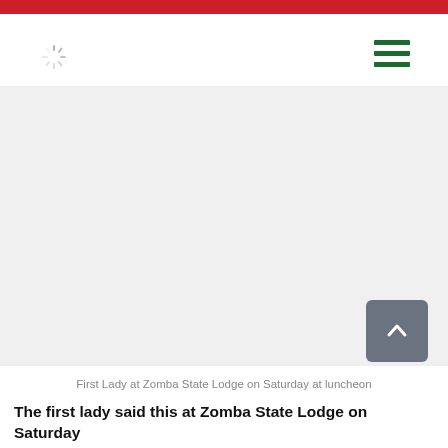[Figure (photo): First Lady at Zomba State Lodge on Saturday at luncheon — large photo area (image not visible/white in scan)]
First Lady at Zomba State Lodge on Saturday at luncheon
The first lady said this at Zomba State Lodge on Saturday when Beautify Malawi (BEAM) hosted a fundraising...